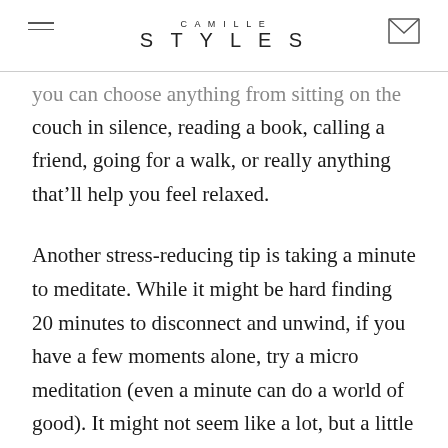CAMILLE STYLES
...you can choose anything from sitting on the couch in silence, reading a book, calling a friend, going for a walk, or really anything that'll help you feel relaxed.
Another stress-reducing tip is taking a minute to meditate. While it might be hard finding 20 minutes to disconnect and unwind, if you have a few moments alone, try a micro meditation (even a minute can do a world of good). It might not seem like a lot, but a little breathing goes a long way.